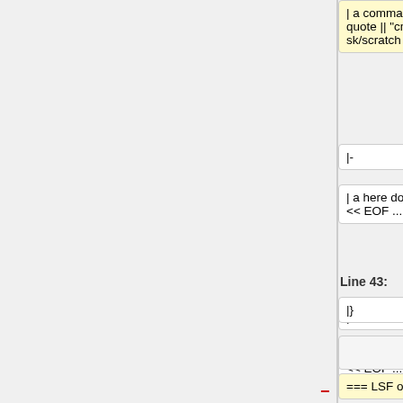| a command with I/O redirection, quote || "cmd<in >out" || bsub "du -sk/scratch > du.out"
| a command with I/O redirection, quote || "cmd<in >out" || bsub "du -sk /scratch > du.out"
|-
|-
| a here document, passed via "<<" || << EOF ... EOF
| a here document, passed via "<<" || << EOF ... EOF
Line 43:
Line 84:
|}
|}
=== LSF options ===
{|style="color: